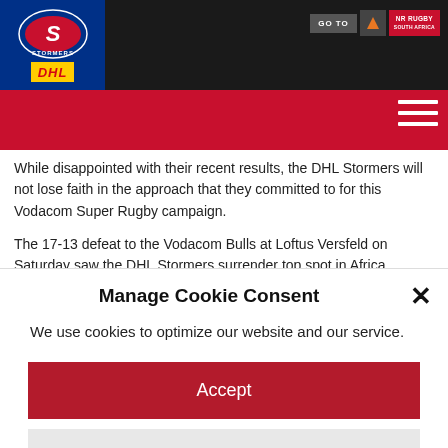DHL Stormers website header with logo and navigation
While disappointed with their recent results, the DHL Stormers will not lose faith in the approach that they committed to for this Vodacom Super Rugby campaign.
The 17-13 defeat to the Vodacom Bulls at Loftus Versfeld on Saturday saw the DHL Stormers surrender top spot in Africa conference one to their rivals from Pretoria for the first time this season.
DHL Stormers Head Coach Robbie Fleck was left frustrated after a
Manage Cookie Consent
We use cookies to optimize our website and our service.
Accept
Deny